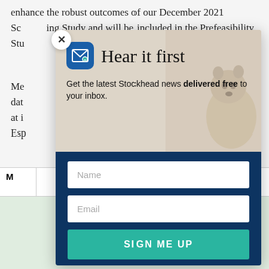enhance the robust outcomes of our December 2021 Scoping Study and will be included in the Prefeasibility Study
Metallurgical test work is ongoing to collect data... at its... near Esp...
| M |
| --- |
[Figure (screenshot): Email newsletter signup modal overlay with 'Hear it first' heading, Get the latest Stockhead news delivered free to your inbox subtitle, groundhog animal image in background, Name input field, Email input field, and SIGN ME UP button on dark navy background]
Hear it first
Get the latest Stockhead news delivered free to your inbox.
SIGN ME UP